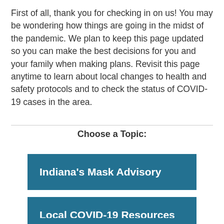First of all, thank you for checking in on us! You may be wondering how things are going in the midst of the pandemic. We plan to keep this page updated so you can make the best decisions for you and your family when making plans. Revisit this page anytime to learn about local changes to health and safety protocols and to check the status of COVID-19 cases in the area.
Choose a Topic:
Indiana's Mask Advisory
Local COVID-19 Resources